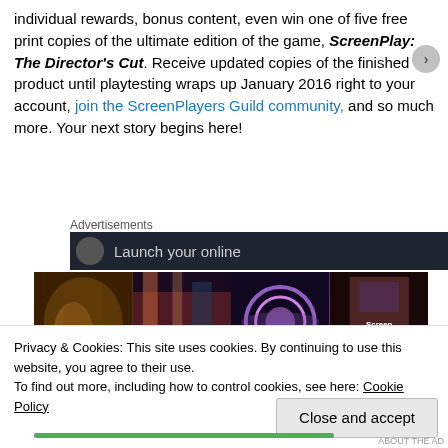individual rewards, bonus content, even win one of five free print copies of the ultimate edition of the game, ScreenPlay: The Director's Cut. Receive updated copies of the finished product until playtesting wraps up January 2016 right to your account, join the ScreenPlayers Guild community, and so much more. Your next story begins here!
Advertisements
[Figure (screenshot): Dark advertisement bar with circle icon and text 'Launch your online']
[Figure (illustration): Game banner with four panels: fantasy warrior, cyberpunk city scene, sci-fi energy orb, and ScreenPlay game cover. Shows BONIES and ScreenPlay logos.]
Privacy & Cookies: This site uses cookies. By continuing to use this website, you agree to their use.
To find out more, including how to control cookies, see here: Cookie Policy
Close and accept